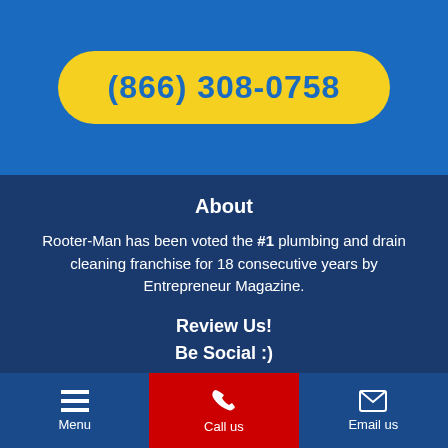(866) 308-0758
About
Rooter-Man has been voted the #1 plumbing and drain cleaning franchise for 18 consecutive years by Entrepreneur Magazine.
Review Us!
Be Social :)
[Figure (infographic): Social media icons: Facebook, Instagram, LinkedIn, Twitter, YouTube]
Some services are only offered at participating locations. All
Menu | Call us | Email us